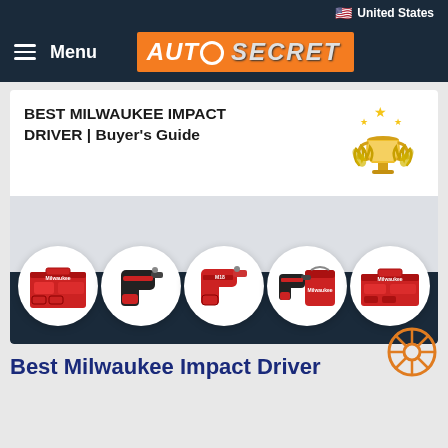🇺🇸 United States
≡ Menu  AUTO SECRET
BEST MILWAUKEE IMPACT DRIVER | Buyer's Guide
[Figure (illustration): Gold trophy with stars and laurel wreath emoji]
[Figure (photo): Five Milwaukee impact driver product images arranged in circles on a dark navy background strip: a red kit box set, a black drill, a red compact impact driver, a red drill with bag, and a red kit box]
Best Milwaukee Impact Driver